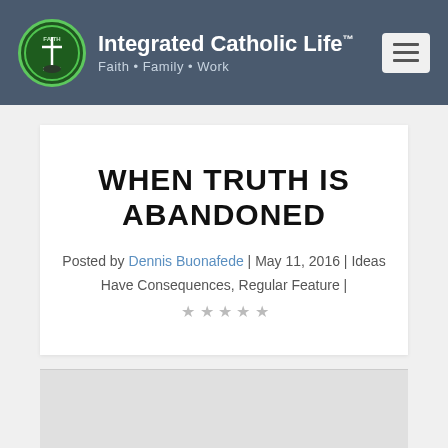Integrated Catholic Life™ · Faith • Family • Work
WHEN TRUTH IS ABANDONED
Posted by Dennis Buonafede | May 11, 2016 | Ideas Have Consequences, Regular Feature | ☆☆☆☆☆
[Figure (photo): Gray placeholder image at bottom of card]